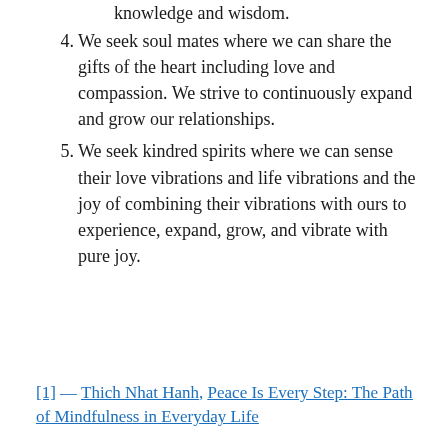knowledge and wisdom.
4. We seek soul mates where we can share the gifts of the heart including love and compassion. We strive to continuously expand and grow our relationships.
5. We seek kindred spirits where we can sense their love vibrations and life vibrations and the joy of combining their vibrations with ours to experience, expand, grow, and vibrate with pure joy.
[1] — Thich Nhat Hanh, Peace Is Every Step: The Path of Mindfulness in Everyday Life